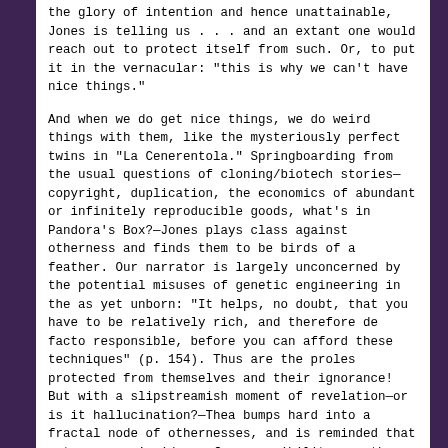the glory of intention and hence unattainable, Jones is telling us . . . and an extant one would reach out to protect itself from such. Or, to put it in the vernacular: "this is why we can't have nice things."
And when we do get nice things, we do weird things with them, like the mysteriously perfect twins in "La Cenerentola." Springboarding from the usual questions of cloning/biotech stories—copyright, duplication, the economics of abundant or infinitely reproducible goods, what's in Pandora's Box?—Jones plays class against otherness and finds them to be birds of a feather. Our narrator is largely unconcerned by the potential misuses of genetic engineering in the as yet unborn: "It helps, no doubt, that you have to be relatively rich, and therefore de facto responsible, before you can afford these techniques" (p. 154). Thus are the proles protected from themselves and their ignorance! But with a slipstreamish moment of revelation—or is it hallucination?—Thea bumps hard into a fractal node of othernesses, and is reminded that not everyone's ideas of responsibility are the same, even on the right side of the class barrier. Most chilling—or maybe simply saddening—is the ride-it-out wisdom of a hotel desk clerk, who reminds Thea of the way the less